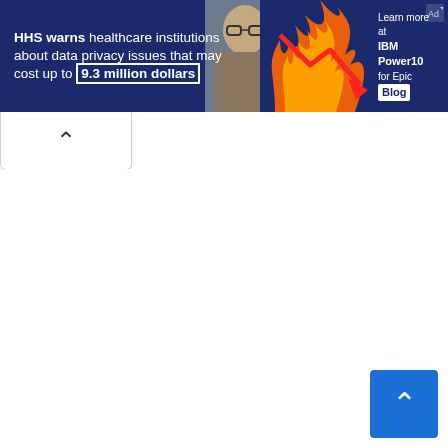[Figure (infographic): Advertisement banner with dark navy background. Left side text: HHS warns healthcare institutions about data privacy issues that may cost up to 9.3 million dollars. Center shows a man with glasses. Right side shows flames and a red downward arrow chart. Far right panel reads: Learn more at IBM Power10 for Epic Blog.]
[Figure (other): Collapse/hide tab with upward chevron arrow on white background below the ad banner.]
[Figure (other): Scroll-to-top button, blue square with white upward chevron, bottom right corner.]